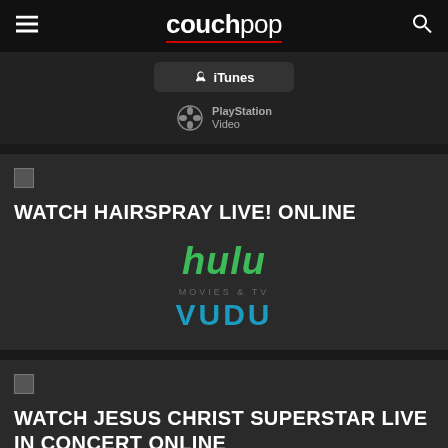couchpop
[Figure (logo): iTunes button with Apple logo icon]
[Figure (logo): PlayStation Video logo with PS controller icon]
[Figure (logo): Small image thumbnail placeholder]
WATCH HAIRSPRAY LIVE! ONLINE
[Figure (logo): Hulu streaming service logo in green]
[Figure (logo): Vudu Movies & TV logo in blue]
[Figure (logo): Small image thumbnail placeholder]
WATCH JESUS CHRIST SUPERSTAR LIVE IN CONCERT ONLINE